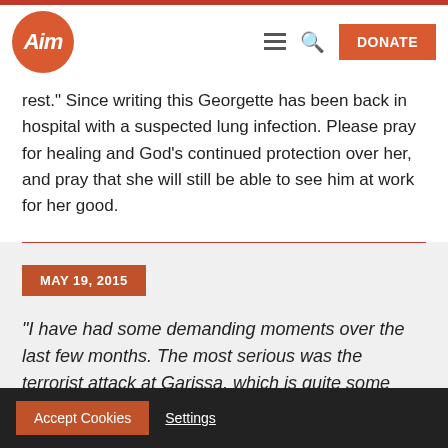AIM logo and navigation bar with DONATE button
rest.” Since writing this Georgette has been back in hospital with a suspected lung infection. Please pray for healing and God’s continued protection over her, and pray that she will still be able to see him at work for her good.
MAY 19, 2015
“I have had some demanding moments over the last few months. The most serious was the terrorist attack at Garissa, which is quite some
Accept Cookies  Settings